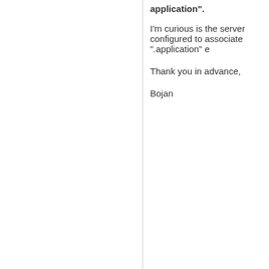application".
I'm curious is the server configured to associate ".application" e
Thank you in advance,
Bojan
[Figure (illustration): DriveHQ admin avatar - illustrated figure of a person in business attire with DriveHQ ADMIN badge]
DriveHQ
Webmaster
(1098 posts)
Hi, I don't think we have created such association. We will add
[Figure (photo): Waterfall nature photo used as avatar]
User: DriveHQ Webmaster  -  6/1/2007 5:40:32 AM
Hi, I don't think we have created such association. We